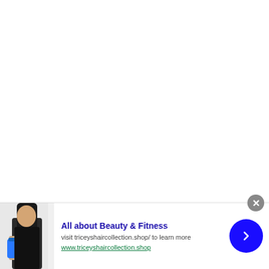Leave a Comment
[Figure (advertisement): Ad banner: woman holding blue water bottle with dark hair. Title: All about Beauty & Fitness. Subtitle: visit triceyshaircollection.shop/ to learn more. URL: www.triceyshaircollection.shop]
All about Beauty & Fitness
visit triceyshaircollection.shop/ to learn more
www.triceyshaircollection.shop